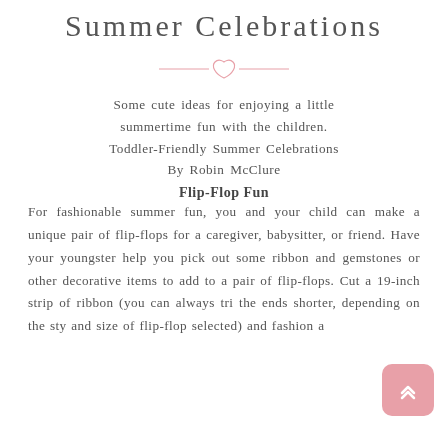Summer Celebrations
[Figure (illustration): Pink heart divider ornament with lines on each side]
Some cute ideas for enjoying a little summertime fun with the children. Toddler-Friendly Summer Celebrations By Robin McClure
Flip-Flop Fun
For fashionable summer fun, you and your child can make a unique pair of flip-flops for a caregiver, babysitter, or friend. Have your youngster help you pick out some ribbon and gemstones or other decorative items to add to a pair of flip-flops. Cut a 19-inch strip of ribbon (you can always tri the ends shorter, depending on the sty and size of flip-flop selected) and fashion a